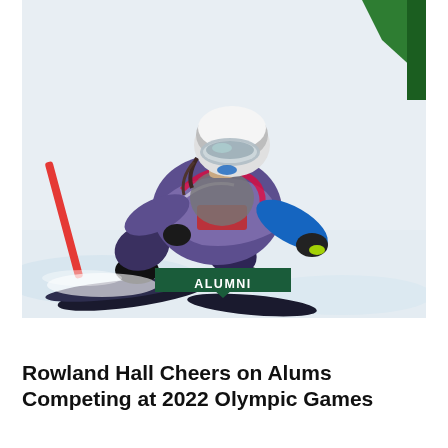[Figure (photo): A skier in a colorful patterned race suit, white helmet and mirrored goggles, leaning aggressively around a slalom gate on a snowy slope. A green flag is visible in the upper right corner. The athlete is in a low crouch with ski poles extended.]
ALUMNI
Rowland Hall Cheers on Alums Competing at 2022 Olympic Games